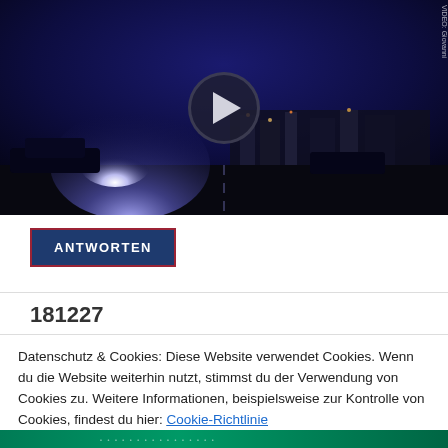[Figure (photo): Nighttime dashcam video thumbnail showing a dark road scene with bright headlights and a city background, with a play button overlay in the center. A watermark is visible in the top right corner.]
ANTWORTEN
181227
Datenschutz & Cookies: Diese Website verwendet Cookies. Wenn du die Website weiterhin nutzt, stimmst du der Verwendung von Cookies zu. Weitere Informationen, beispielsweise zur Kontrolle von Cookies, findest du hier: Cookie-Richtlinie
Schließen und Akzeptieren
[Figure (photo): Partial bottom strip of a green-toned image, appears to be another video thumbnail.]